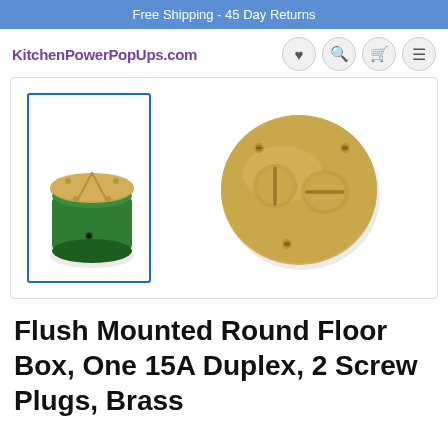Free Shipping - 45 Day Returns
KitchenPowerPopUps.com
[Figure (photo): Product photo of a Flush Mounted Round Floor Box with green cylindrical base and brass cover, alongside a flat brass cover plate with two screw plugs.]
Flush Mounted Round Floor Box, One 15A Duplex, 2 Screw Plugs, Brass